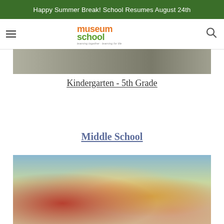Happy Summer Break! School Resumes August 24th
[Figure (logo): Museum School logo with orange and green text reading 'museum school' and tagline 'learning together - learning for life']
[Figure (photo): Students working in a classroom, partial image at top of page]
Kindergarten - 5th Grade
Middle School
[Figure (photo): Students working on a building project with colorful connectors at desks in a classroom, with a teacher and several students visible]